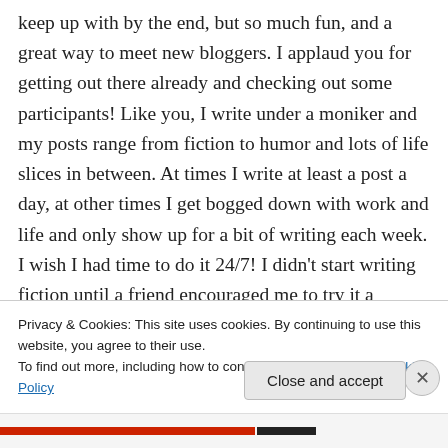keep up with by the end, but so much fun, and a great way to meet new bloggers. I applaud you for getting out there already and checking out some participants! Like you, I write under a moniker and my posts range from fiction to humor and lots of life slices in between. At times I write at least a post a day, at other times I get bogged down with work and life and only show up for a bit of writing each week. I wish I had time to do it 24/7! I didn't start writing fiction until a friend encouraged me to try it a couple years
Privacy & Cookies: This site uses cookies. By continuing to use this website, you agree to their use.
To find out more, including how to control cookies, see here: Cookie Policy